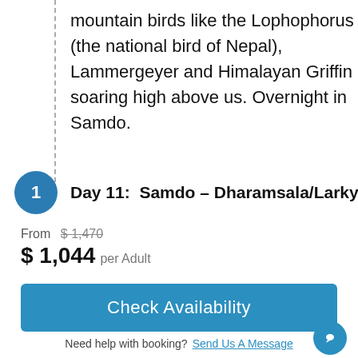mountain birds like the Lophophorus (the national bird of Nepal), Lammergeyer and Himalayan Griffin soaring high above us. Overnight in Samdo.
Day 11:  Samdo – Dharamsala/Larkya B.
From $1,470
$ 1,044 per Adult
Check Availability
Need help with booking? Send Us A Message